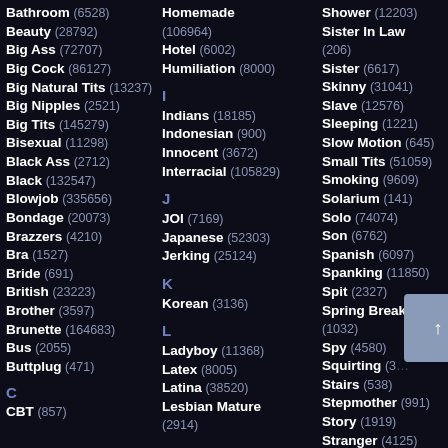Bathroom (6528)
Beauty (28792)
Big Ass (72707)
Big Cock (86127)
Big Natural Tits (13237)
Big Nipples (2521)
Big Tits (145279)
Bisexual (11298)
Black Ass (2712)
Black (132547)
Blowjob (335656)
Bondage (20073)
Brazzers (4210)
Bra (1527)
Bride (691)
British (23223)
Brother (3597)
Brunette (164683)
Bus (2055)
Buttplug (471)
C
CBT (857)
Homemade (106964)
Hotel (6002)
Humiliation (8000)
I
Indians (18185)
Indonesian (900)
Innocent (3672)
Interracial (105829)
J
JOI (7169)
Japanese (52303)
Jerking (25124)
K
Korean (3136)
L
Ladyboy (11368)
Latex (8005)
Latina (38520)
Lesbian Mature (2914)
Shower (12203)
Sister In Law (206)
Sister (6617)
Skinny (31041)
Slave (12576)
Sleeping (1221)
Slow Motion (645)
Small Tits (51059)
Smoking (9609)
Solarium (141)
Solo (74074)
Son (6762)
Spanish (6097)
Spanking (11850)
Spit (2327)
Spring Break (1032)
Spy (4580)
Squirting (3...)
Stairs (538)
Stepmother (991)
Story (1919)
Stranger (4125)
Strap-on Lesbian